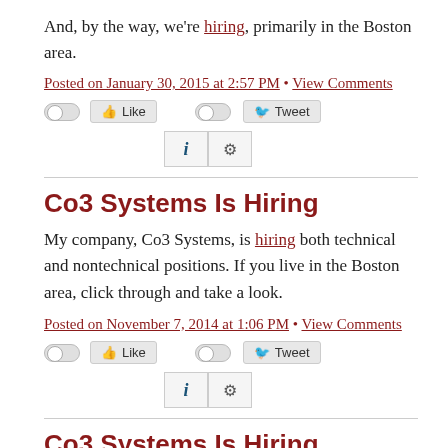And, by the way, we're hiring, primarily in the Boston area.
Posted on January 30, 2015 at 2:57 PM • View Comments
[Figure (other): Social sharing buttons: Like toggle and button, Tweet toggle and button, info and settings widget buttons]
Co3 Systems Is Hiring
My company, Co3 Systems, is hiring both technical and nontechnical positions. If you live in the Boston area, click through and take a look.
Posted on November 7, 2014 at 1:06 PM • View Comments
[Figure (other): Social sharing buttons: Like toggle and button, Tweet toggle and button, info and settings widget buttons]
Co3 Systems Is Hiring
At the beginning of the year, I announced that I'd joined Co3